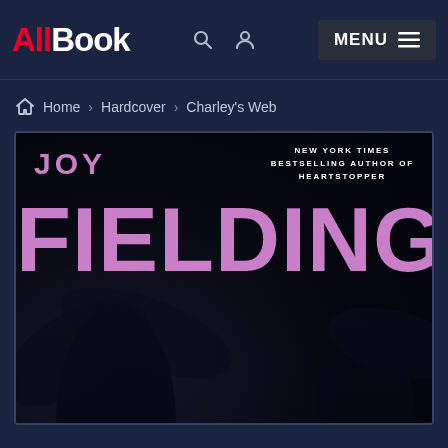AllBook — MENU
Home > Hardcover > Charley's Web
[Figure (photo): Book cover for Joy Fielding's 'Charley's Web'. Large pink/mauve text reading 'JOY' then 'FIELDING' on a dark background with tropical palm imagery. Top right has white text reading 'NEW YORK TIMES BESTSELLING AUTHOR OF HEARTSTOPPER'.]